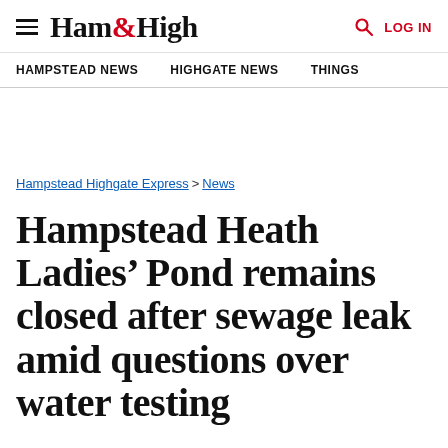Ham&High
HAMPSTEAD NEWS   HIGHGATE NEWS   THINGS
Hampstead Highgate Express > News
Hampstead Heath Ladies' Pond remains closed after sewage leak amid questions over water testing